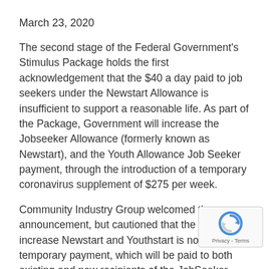March 23, 2020
The second stage of the Federal Government's Stimulus Package holds the first acknowledgement that the $40 a day paid to job seekers under the Newstart Allowance is insufficient to support a reasonable life. As part of the Package, Government will increase the Jobseeker Allowance (formerly known as Newstart), and the Youth Allowance Job Seeker payment, through the introduction of a temporary coronavirus supplement of $275 per week.
Community Industry Group welcomed the announcement, but cautioned that the fight to increase Newstart and Youthstart is not over. The temporary payment, which will be paid to both existing and new recipients of the JobSeeker Payment and Youth Allowance jobseeker, as well as to recipients of Parenting Payment, Farm Household Allowance and Special Benefit will only be in place for the next six months.
“There is no doubt that effectively doubling Newstart and